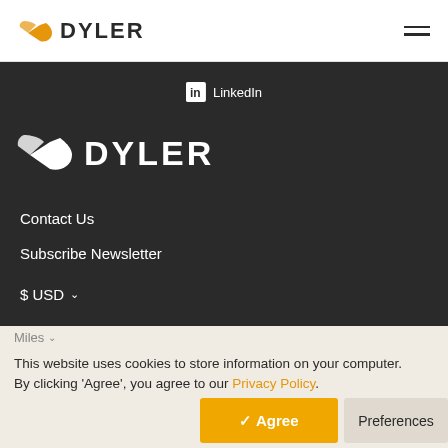DYLER
LinkedIn
[Figure (logo): Dyler logo with wing/arrow icon in white and text DYLER in white on dark background]
Contact Us
Subscribe Newsletter
$ USD
Miles
This website uses cookies to store information on your computer. By clicking 'Agree', you agree to our Privacy Policy.